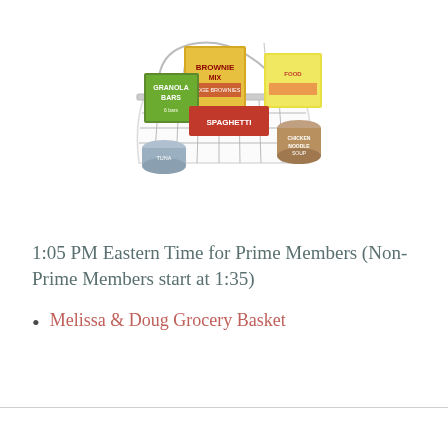[Figure (photo): A wire shopping basket filled with grocery items including Brownie Mix box, Granola Bars box, Spaghetti box, canned goods (tuna, soup), and other packaged foods.]
1:05 PM Eastern Time for Prime Members (Non-Prime Members start at 1:35)
Melissa & Doug Grocery Basket